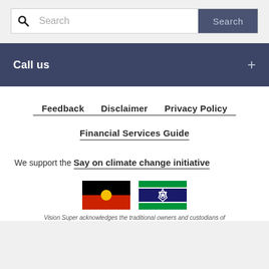[Figure (screenshot): Search bar with magnifying glass icon, text input placeholder 'Search', and a dark blue 'Search' button]
Call us +
Feedback   Disclaimer   Privacy Policy
Financial Services Guide
We support the Say on climate change initiative
[Figure (illustration): Aboriginal flag and Torres Strait Islander flag side by side]
Vision Super acknowledges the traditional owners and custodians of